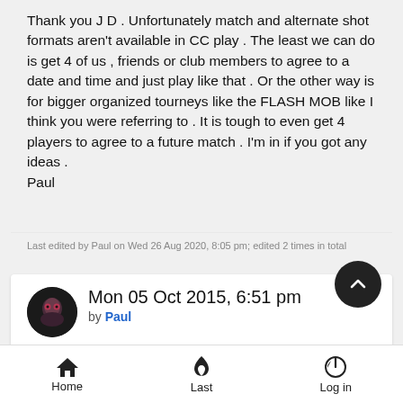Thank you J D . Unfortunately match and alternate shot formats aren't available in CC play . The least we can do is get 4 of us , friends or club members to agree to a date and time and just play like that . Or the other way is for bigger organized tourneys like the FLASH MOB like I think you were referring to . It is tough to even get 4 players to agree to a future match . I'm in if you got any ideas .
Paul
Last edited by Paul on Wed 26 Aug 2020, 8:05 pm; edited 2 times in total
Mon 05 Oct 2015, 6:51 pm
by Paul
[Figure (photo): Dark image preview thumbnail]
Home  Last  Log in